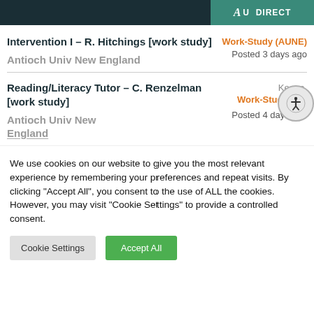AU DIRECT
Intervention I – R. Hitchings [work study]
Antioch Univ New England
Work-Study (AUNE)
Posted 3 days ago
Reading/Literacy Tutor – C. Renzelman [work study]
Antioch Univ New England
Keene,
Work-Study (AUN
Posted 4 days ago
We use cookies on our website to give you the most relevant experience by remembering your preferences and repeat visits. By clicking “Accept All”, you consent to the use of ALL the cookies. However, you may visit "Cookie Settings" to provide a controlled consent.
Cookie Settings
Accept All